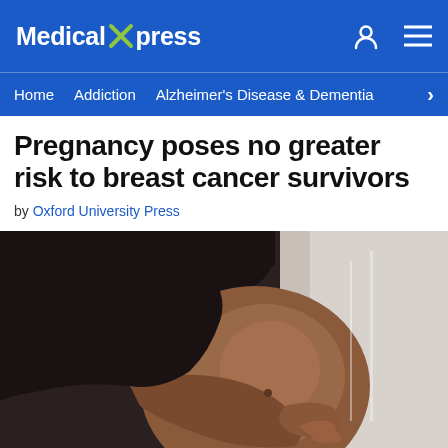Medical Xpress
Home   Addiction   Alzheimer's Disease & Dementia   >
Pregnancy poses no greater risk to breast cancer survivors
by Oxford University Press
[Figure (photo): Side profile silhouette of a pregnant woman with dark skin wearing a black top, holding her bare belly against a light background]